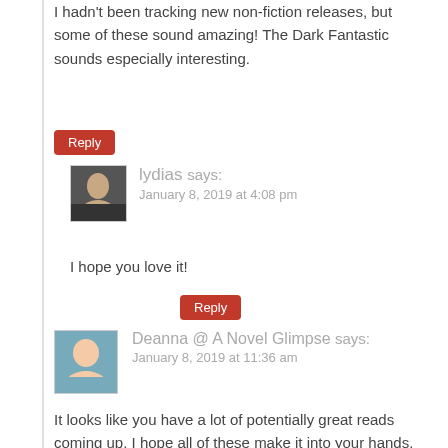I hadn't been tracking new non-fiction releases, but some of these sound amazing! The Dark Fantastic sounds especially interesting.
Reply
lydias says: January 8, 2019 at 4:08 pm
I hope you love it!
Reply
Deanna @ A Novel Glimpse says: January 8, 2019 at 11:36 am
It looks like you have a lot of potentially great reads coming up. I hope all of these make it into your hands. 🙂
Reply
lydias says: January 8, 2019 at 4:09 pm